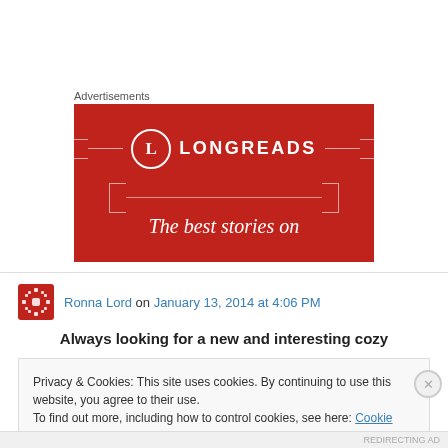Advertisements
[Figure (illustration): Longreads advertisement banner with red background, circular L logo, decorative bracket lines, and text 'The best stories on']
Ronna Lord on January 13, 2014 at 4:06 PM
Always looking for a new and interesting cozy
Privacy & Cookies: This site uses cookies. By continuing to use this website, you agree to their use.
To find out more, including how to control cookies, see here: Cookie Policy
Close and accept